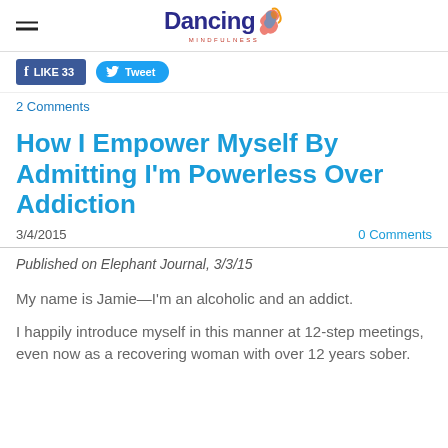Dancing Mindfulness
[Figure (other): Facebook Like button (33 likes) and Twitter Tweet button]
2 Comments
How I Empower Myself By Admitting I'm Powerless Over Addiction
3/4/2015   0 Comments
Published on Elephant Journal, 3/3/15
My name is Jamie—I'm an alcoholic and an addict.
I happily introduce myself in this manner at 12-step meetings, even now as a recovering woman with over 12 years sober.